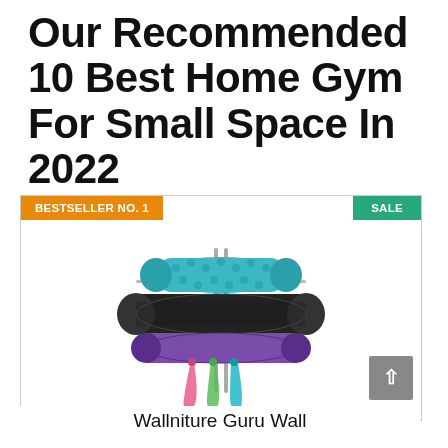Our Recommended 10 Best Home Gym For Small Space In 2022
[Figure (photo): Wall-mounted foam roller holder with a large black foam roller, a teal textured foam roller on top, a purple yoga mat roll, and colorful resistance bands (pink, green, teal) hanging below. Product is a Wallniture Guru Wall mount organizer.]
Wallniture Guru Wall